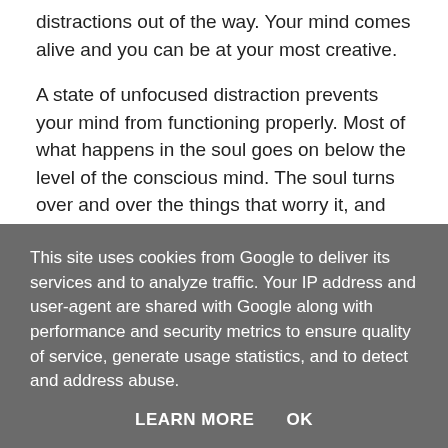distractions out of the way. Your mind comes alive and you can be at your most creative.
A state of unfocused distraction prevents your mind from functioning properly. Most of what happens in the soul goes on below the level of the conscious mind. The soul turns over and over the things that worry it, and that we are only dimly aware of. Naturally we block these things and push them back as they rise up. This leads to nervous tension and the constant worry that things aren't as they should be. As we focus and let go of the things in our mind, it is able to work freely - and naturally bring things to a resolution.
This site uses cookies from Google to deliver its services and to analyze traffic. Your IP address and user-agent are shared with Google along with performance and security metrics to ensure quality of service, generate usage statistics, and to detect and address abuse.
LEARN MORE    OK